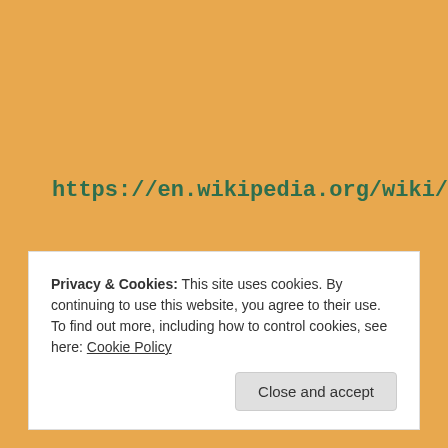https://en.wikipedia.org/wiki/Sedona,_Arizona
Privacy & Cookies: This site uses cookies. By continuing to use this website, you agree to their use.
To find out more, including how to control cookies, see here: Cookie Policy
Close and accept